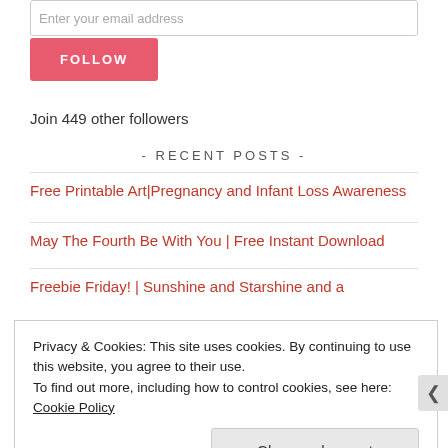Enter your email address
FOLLOW
Join 449 other followers
- RECENT POSTS -
Free Printable Art|Pregnancy and Infant Loss Awareness
May The Fourth Be With You | Free Instant Download
Freebie Friday! | Sunshine and Starshine and a
Privacy & Cookies: This site uses cookies. By continuing to use this website, you agree to their use.
To find out more, including how to control cookies, see here: Cookie Policy
Close and accept